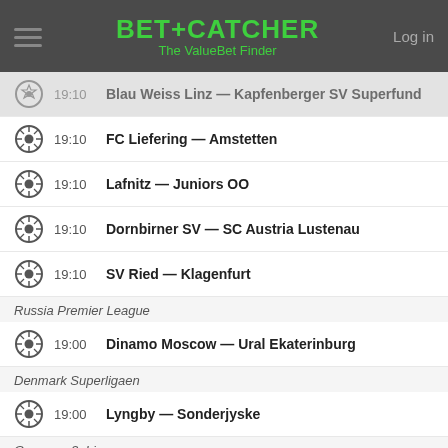BET+CATCHER The ValueBet Finder
19:10  Blau Weiss Linz — Kapfenberger SV Superfund
19:10  FC Liefering — Amstetten
19:10  Lafnitz — Juniors OO
19:10  Dornbirner SV — SC Austria Lustenau
19:10  SV Ried — Klagenfurt
Russia Premier League
19:00  Dinamo Moscow — Ural Ekaterinburg
Denmark Superligaen
19:00  Lyngby — Sonderjyske
Germany 3. Liga
19:00  Bayern Munchen II — KFC Uerdingen
Club Friendlies
19:00  KVSK United Overpelt-Lommel — Roda JC